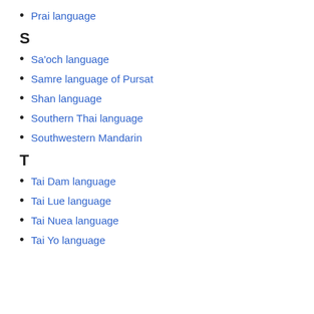Prai language
S
Sa'och language
Samre language of Pursat
Shan language
Southern Thai language
Southwestern Mandarin
T
Tai Dam language
Tai Lue language
Tai Nuea language
Tai Yo language